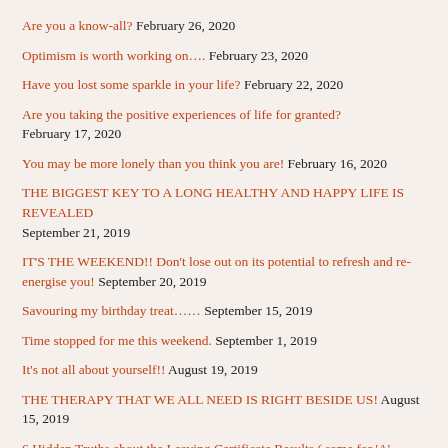Are you a know-all? February 26, 2020
Optimism is worth working on…. February 23, 2020
Have you lost some sparkle in your life? February 22, 2020
Are you taking the positive experiences of life for granted? February 17, 2020
You may be more lonely than you think you are! February 16, 2020
THE BIGGEST KEY TO A LONG HEALTHY AND HAPPY LIFE IS REVEALED September 21, 2019
IT'S THE WEEKEND!! Don't lose out on its potential to refresh and re-energise you! September 20, 2019
Savouring my birthday treat….. September 15, 2019
Time stopped for me this weekend. September 1, 2019
It's not all about yourself!! August 19, 2019
THE THERAPY THAT WE ALL NEED IS RIGHT BESIDE US! August 15, 2019
6 Hidden Truths about the Leaving Certificate Results ( same for 'A' Levels!) August 12, 2019